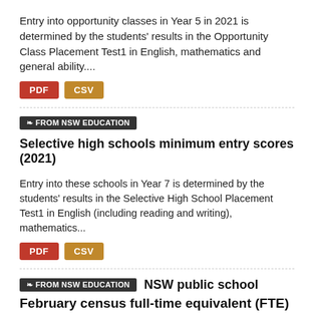Entry into opportunity classes in Year 5 in 2021 is determined by the students' results in the Opportunity Class Placement Test1 in English, mathematics and general ability....
PDF  CSV
FROM NSW EDUCATION   Selective high schools minimum entry scores (2021)
Entry into these schools in Year 7 is determined by the students' results in the Selective High School Placement Test1 in English (including reading and writing), mathematics...
PDF  CSV
FROM NSW EDUCATION   NSW public school February census full-time equivalent (FTE) enrolments (2018...
This data shows February census enrolment figures. All enrolments are self-reported in full-time equivalent (FTE)